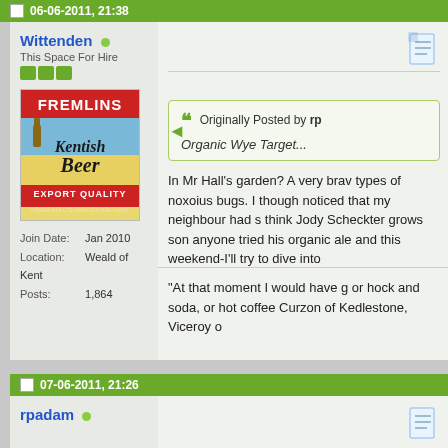06-06-2011, 21:38
Wittenden
This Space For Hire
[Figure (illustration): Fremlins Kentish Beer Export Quality vintage beer advertisement image]
Join Date: Jan 2010
Location: Weald of Kent
Posts: 1,864
[Figure (screenshot): Document/post icon]
Originally Posted by rp
Organic Wye Target...
In Mr Hall's garden? A very brav types of noxoius bugs. I though noticed that my neighbour had s think Jody Scheckter grows son anyone tried his organic ale and this weekend-I'll try to dive into
"At that moment I would have g or hock and soda, or hot coffee Curzon of Kedlestone, Viceroy o
07-06-2011, 21:26
rpadam